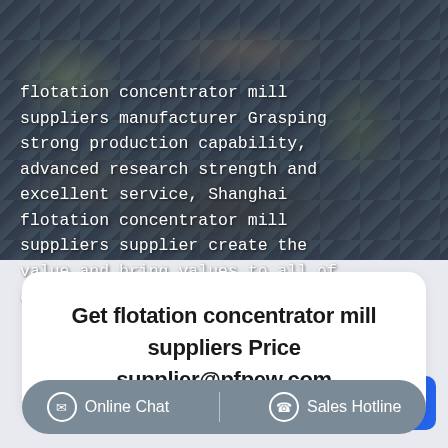[Figure (photo): Aerial view of an open-pit mining site with dark rocky terrain]
flotation concentrator mill suppliers manufacturer Grasping strong production capability, advanced research strength and excellent service, Shanghai flotation concentrator mill suppliers supplier create the value and bring values to all of customers.
Free chat
Get flotation concentrator mill suppliers Price supplier@pfpew.com
Online Chat
Sales Hotline